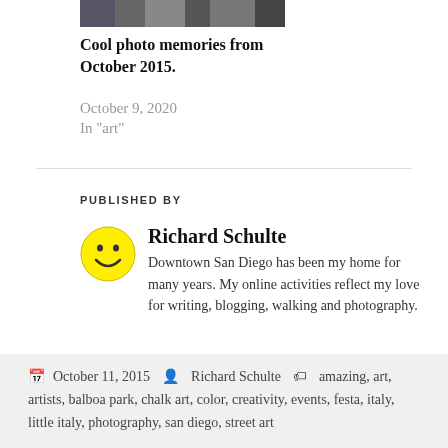[Figure (photo): Thumbnail photo strip of a crowd/event scene from October 2015]
Cool photo memories from October 2015.
October 9, 2020
In "art"
PUBLISHED BY
[Figure (illustration): Yellow smiley face avatar icon]
Richard Schulte
Downtown San Diego has been my home for many years. My online activities reflect my love for writing, blogging, walking and photography.
View all posts by Richard Schulte →
October 11, 2015  Richard Schulte  amazing, art, artists, balboa park, chalk art, color, creativity, events, festa, italy, little italy, photography, san diego, street art